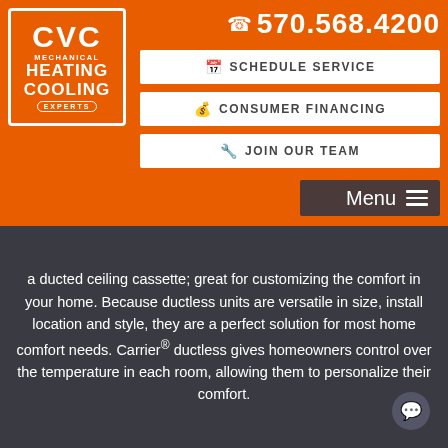[Figure (logo): CVC Mechanical Heating Cooling Experts logo, white text on orange background with white border]
☎ 570.568.4200
📅 SCHEDULE SERVICE
💰 CONSUMER FINANCING
🔧 JOIN OUR TEAM
Menu ≡
a ducted ceiling cassette; great for customizing the comfort in your home. Because ductless units are versatile in size, install location and style, they are a perfect solution for most home comfort needs. Carrier® ductless gives homeowners control over the temperature in each room, allowing them to personalize their comfort.